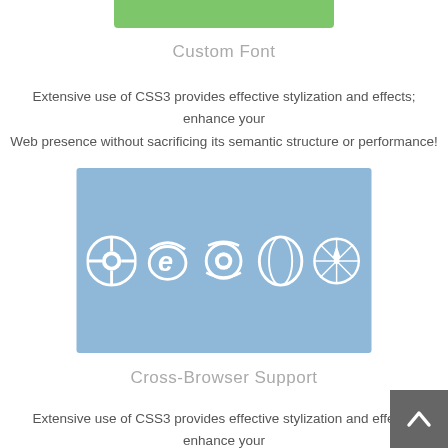[Figure (illustration): Green horizontal bar at the top center of the page]
Custom Font
Extensive use of CSS3 provides effective stylization and effects; enhance your Web presence without sacrificing its semantic structure or performance!
[Figure (illustration): Blue rectangular banner with white browser logos: Chrome, Internet Explorer, Firefox, Opera, Safari]
Cross-Browser Support
Extensive use of CSS3 provides effective stylization and effects; enhance your Web presence without sacrificing its semantic structure or performance!